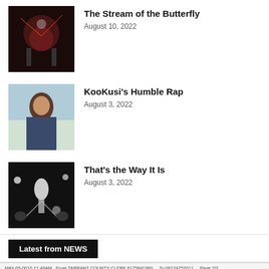[Figure (photo): Concert photo with performer and colorful stage lighting]
The Stream of the Butterfly
August 10, 2022
[Figure (photo): Portrait of a young man outdoors]
KooKusi's Humble Rap
August 3, 2022
[Figure (photo): Black and white concert photo of performer on stage]
That's the Way It Is
August 3, 2022
Latest from NEWS
MAY-05-0010 11:49AM From:TARRANT COUNTY CLERK 8175841960    To:08124752011    Page:2/2
[Figure (screenshot): Partial view of a government form with Secretary of State filing information and a state seal]